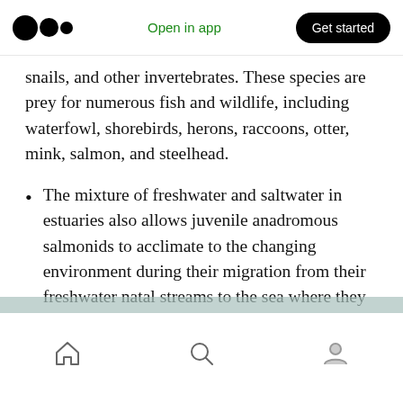Open in app | Get started
snails, and other invertebrates. These species are prey for numerous fish and wildlife, including waterfowl, shorebirds, herons, raccoons, otter, mink, salmon, and steelhead.
The mixture of freshwater and saltwater in estuaries also allows juvenile anadromous salmonids to acclimate to the changing environment during their migration from their freshwater natal streams to the sea where they will spend most of their adult life.
Home | Search | Profile